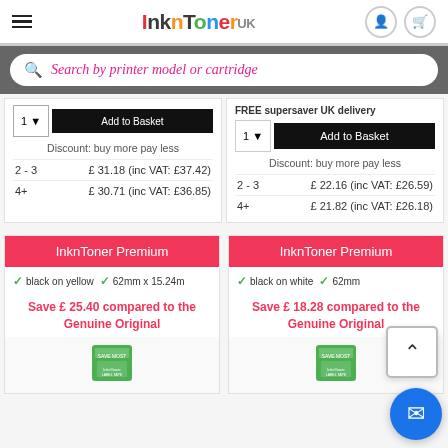InknToner UK
Search by printer model or cartridge
| Qty | Price |
| --- | --- |
| 2 - 3 | £ 31.18 (inc VAT: £37.42) |
| 4+ | £ 30.71 (inc VAT: £36.85) |
| Qty | Price |
| --- | --- |
| 2 - 3 | £ 22.16 (inc VAT: £26.59) |
| 4+ | £ 21.82 (inc VAT: £26.18) |
InknToner Premium
black on yellow  62mm x 15.24m
Save £ 25.40 compared to the Genuine Original
InknToner Premium
black on white  62mm x 15.24m
Save £ 18.28 compared to the Genuine Original